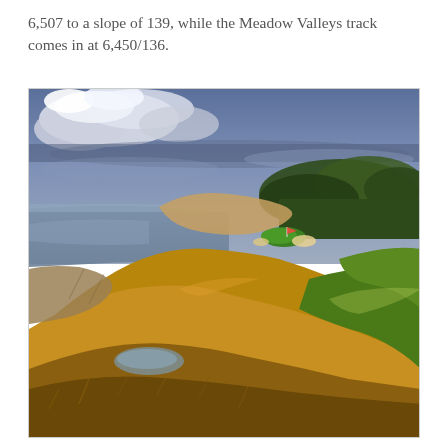6,507 to a slope of 139, while the Meadow Valleys track comes in at 6,450/136.
[Figure (photo): Aerial/landscape photograph of a coastal golf course hole, showing rugged golden grass hillsides, dramatic cliffs dropping to a lake or sea on the left, a green with a flag in the middle distance, trees on the right, and a dramatic cloudy sky above.]